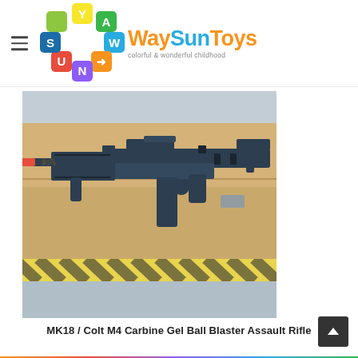[Figure (logo): WaySunToys logo with colorful letter blocks arranged in a circle and brand name 'WaySunToys' with tagline 'colorful & wonderful childhood']
[Figure (photo): MK18 / Colt M4 Carbine Gel Ball Blaster Assault Rifle toy gun in black color laying on a cardboard box with yellow and black striped tape visible at bottom]
MK18 / Colt M4 Carbine Gel Ball Blaster Assault Rifle